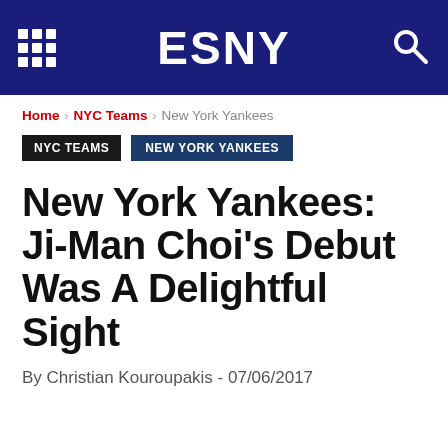ESNY
Home › NYC Teams › New York Yankees
NYC TEAMS  NEW YORK YANKEES
New York Yankees: Ji-Man Choi's Debut Was A Delightful Sight
By Christian Kouroupakis - 07/06/2017